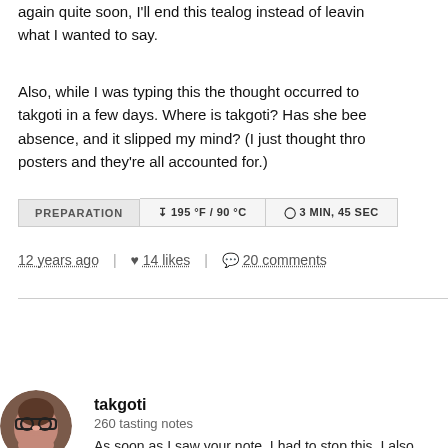again quite soon, I'll end this tealog instead of leaving what I wanted to say.
Also, while I was typing this the thought occurred to takgoti in a few days. Where is takgoti? Has she been absence, and it slipped my mind? (I just thought thro posters and they're all accounted for.)
| PREPARATION | 195 °F / 90 °C | 3 MIN, 45 SEC |
| --- | --- | --- |
12 years ago | ♥ 14 likes | 💬 20 comments
Show 14 More
takgoti
260 tasting notes
As soon as I saw your note, I had to stop this. I also...